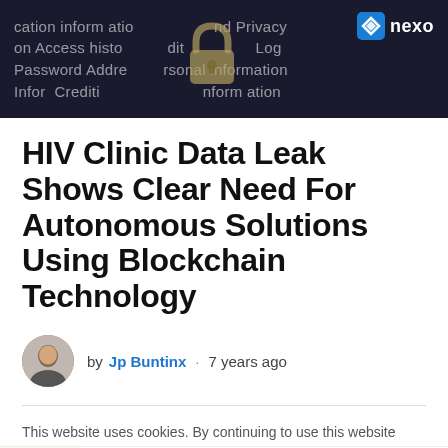[Figure (screenshot): Dark banner image showing blurred security/privacy related text including 'cation information', 'on Access history', 'Password Address', 'personal information', with a lock icon in the center and Nexo logo badge in the top right corner]
HIV Clinic Data Leak Shows Clear Need For Autonomous Solutions Using Blockchain Technology
by Jp Buntinx · 7 years ago
This website uses cookies. By continuing to use this website
LATEST NEWS  Tamadoge - Tamadoge raises $500k in last 24 hours  INVEST NOW